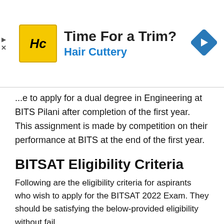[Figure (other): Advertisement banner for Hair Cuttery with logo, text 'Time For a Trim? Hair Cuttery', and a blue navigation diamond icon on the right.]
...e to apply for a dual degree in Engineering at BITS Pilani after completion of the first year. This assignment is made by competition on their performance at BITS at the end of the first year.
BITSAT Eligibility Criteria
Following are the eligibility criteria for aspirants who wish to apply for the BITSAT 2022 Exam. They should be satisfying the below-provided eligibility without fail.
For all Programmes except B.Pharm
Candidate should have passed the 12th examination for...